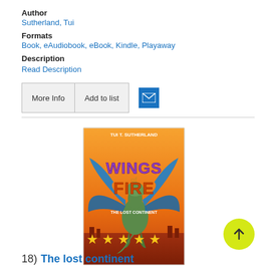Author
Sutherland, Tui
Formats
Book, eAudiobook, eBook, Kindle, Playaway
Description
Read Description
[Figure (illustration): Book cover for Wings of Fire: The Lost Continent by Tui T. Sutherland, showing a dragon with large blue wings against an orange/fire background]
★★★★★
18)  The lost continent